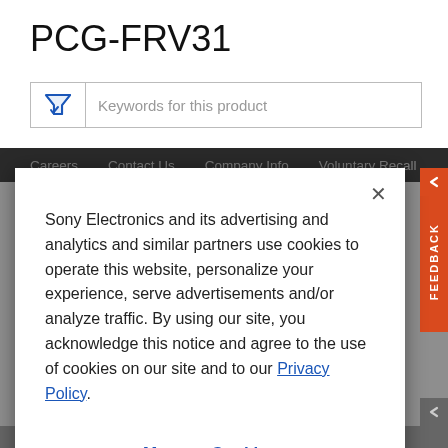PCG-FRV31
[Figure (screenshot): Search/filter input box with funnel icon and placeholder text 'Keywords for this product']
Careers  Contact Us  Company Info  Voluntary Recall
Sony Electronics and its advertising and analytics and similar partners use cookies to operate this website, personalize your experience, serve advertisements and/or analyze traffic. By using our site, you acknowledge this notice and agree to the use of cookies on our site and to our Privacy Policy.
Manage Cookies